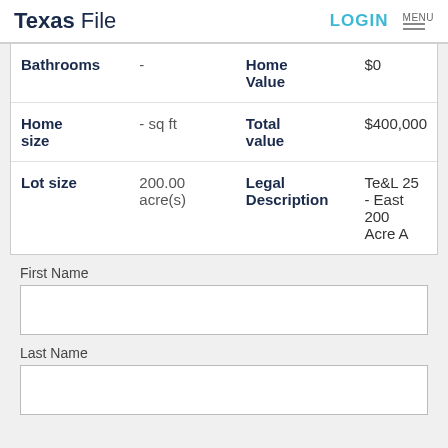Texas File | LOGIN | MENU
| Field | Value | Field | Value |
| --- | --- | --- | --- |
| Bathrooms | - | Home Value | $0 |
| Home size | - sq ft | Total value | $400,000 |
| Lot size | 200.00 acre(s) | Legal Description | Te&L 25 - East 200 Acre  A |
First Name
Last Name